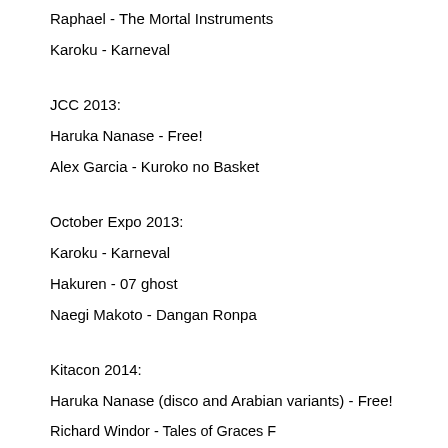Raphael - The Mortal Instruments
Karoku - Karneval
JCC 2013:
Haruka Nanase - Free!
Alex Garcia - Kuroko no Basket
October Expo 2013:
Karoku - Karneval
Hakuren - 07 ghost
Naegi Makoto - Dangan Ronpa
Kitacon 2014:
Haruka Nanase (disco and Arabian variants) - Free!
Richard Windor - Tales of Graces F
Misaki Takahashi - Junjou Romantica
Alice Baskerville - Pandora Hearts
Waiter! Akira - Chiral Cafe
Jem Carstairs - The Infernal Devices
Emma Carstairs - The Dark Artifices